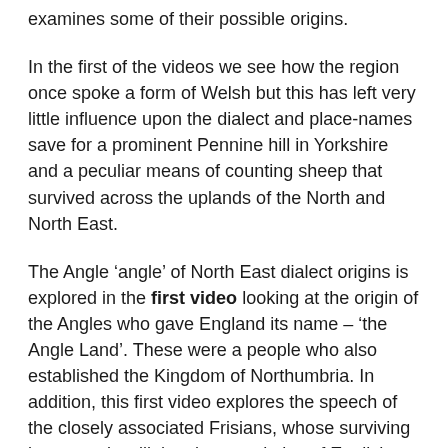examines some of their possible origins.
In the first of the videos we see how the region once spoke a form of Welsh but this has left very little influence upon the dialect and place-names save for a prominent Pennine hill in Yorkshire and a peculiar means of counting sheep that survived across the uplands of the North and North East.
The Angle ‘angle’ of North East dialect origins is explored in the first video looking at the origin of the Angles who gave England its name – ‘the Angle Land’. These were a people who also established the Kingdom of Northumbria. In addition, this first video explores the speech of the closely associated Frisians, whose surviving language is still the closest relative of English with words and pronunciations having a marked similarity to Geordie and Scots.
It’s been argued that Geordie (and Northumbrian) words are about 80 per cent Anglo-Saxon origin with the Angle influence